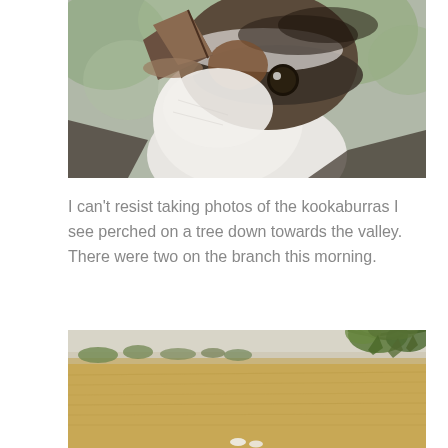[Figure (photo): Close-up photograph of a kookaburra bird face, showing detailed feathers in white, brown and dark grey tones, with a large beak pointed upward and a dark eye visible. Blurred green foliage in background.]
I can't resist taking photos of the kookaburras I see perched on a tree down towards the valley. There were two on the branch this morning.
[Figure (photo): Landscape photograph of an open golden-brown field/paddock with green eucalyptus tree branches hanging from the top right, and distant trees on the horizon. White birds (possibly kookaburras or cockatoos) are faintly visible near the bottom centre.]